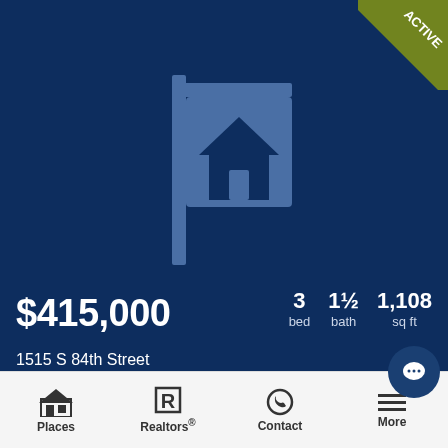[Figure (illustration): Dark navy blue background with a real estate listing sign icon (for-sale sign with a house silhouette) centered in the upper portion. An 'ACTIVE' badge in olive/yellow-green is shown in the top-right corner.]
$415,000
3 bed  1½ bath  1,108 sq ft
1515 S 84th Street
listed
Places   Realtors®   Contact   More